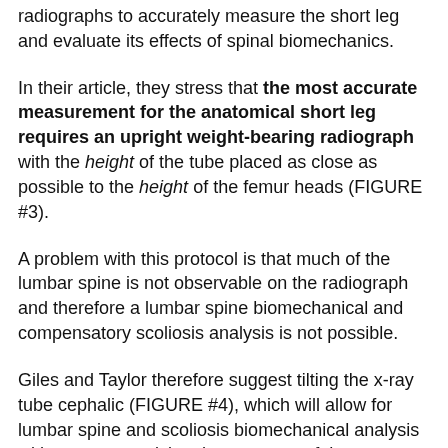radiographs to accurately measure the short leg and evaluate its effects of spinal biomechanics.
In their article, they stress that the most accurate measurement for the anatomical short leg requires an upright weight-bearing radiograph with the height of the tube placed as close as possible to the height of the femur heads (FIGURE #3).
A problem with this protocol is that much of the lumbar spine is not observable on the radiograph and therefore a lumbar spine biomechanical and compensatory scoliosis analysis is not possible.
Giles and Taylor therefore suggest tilting the x-ray tube cephalic (FIGURE #4), which will allow for lumbar spine and scoliosis biomechanical analysis without compromising the accuracy of the anatomical short leg measurement.
In 1983, physician Ora Friberg goes on to further detail the relationship between an anatomical